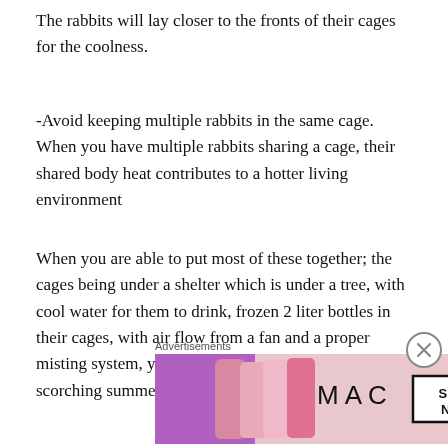The rabbits will lay closer to the fronts of their cages for the coolness.
-Avoid keeping multiple rabbits in the same cage. When you have multiple rabbits sharing a cage, their shared body heat contributes to a hotter living environment
When you are able to put most of these together; the cages being under a shelter which is under a tree, with cool water for them to drink, frozen 2 liter bottles in their cages, with air flow from a fan and a proper misting system, your rabbits can get through the scorching summer heat.
If you discover one of your rabbits are over heated there
[Figure (advertisement): MAC cosmetics advertisement showing lipsticks with 'SHOP NOW' button]
Advertisements